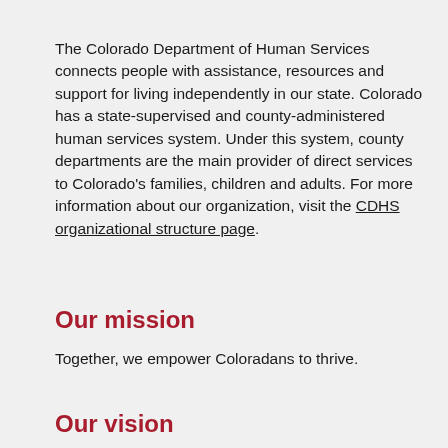[Figure (logo): Partial logo/header of Colorado Department of Human Services visible at top]
The Colorado Department of Human Services connects people with assistance, resources and support for living independently in our state. Colorado has a state-supervised and county-administered human services system. Under this system, county departments are the main provider of direct services to Colorado's families, children and adults. For more information about our organization, visit the CDHS organizational structure page.
Our mission
Together, we empower Coloradans to thrive.
Our vision